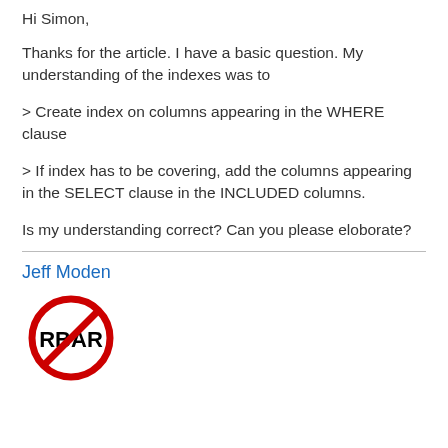Hi Simon,
Thanks for the article. I have a basic question. My understanding of the indexes was to
> Create index on columns appearing in the WHERE clause
> If index has to be covering, add the columns appearing in the SELECT clause in the INCLUDED columns.
Is my understanding correct? Can you please eloborate?
Jeff Moden
[Figure (logo): Red circle with diagonal slash over bold black text RBAR — a no-RBAR logo]